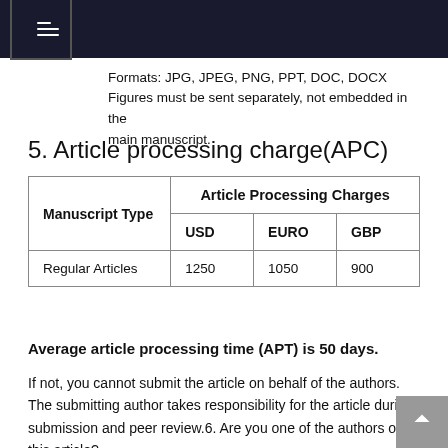Formats: JPG, JPEG, PNG, PPT, DOC, DOCX
Figures must be sent separately, not embedded in the main manuscript.
5. Article processing charge(APC)
| Manuscript Type | Article Processing Charges — USD | Article Processing Charges — EURO | Article Processing Charges — GBP |
| --- | --- | --- | --- |
| Regular Articles | 1250 | 1050 | 900 |
Average article processing time (APT) is 50 days.
If not, you cannot submit the article on behalf of the authors. The submitting author takes responsibility for the article during submission and peer review.6. Are you one of the authors of this article?